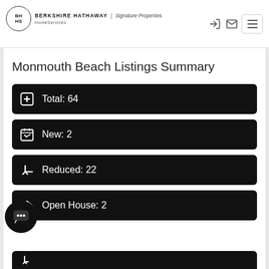[Figure (logo): Berkshire Hathaway HomeServices Signature Properties logo with circular BH HS emblem]
Monmouth Beach Listings Summary
Total: 64
New: 2
Reduced: 22
Open House: 2